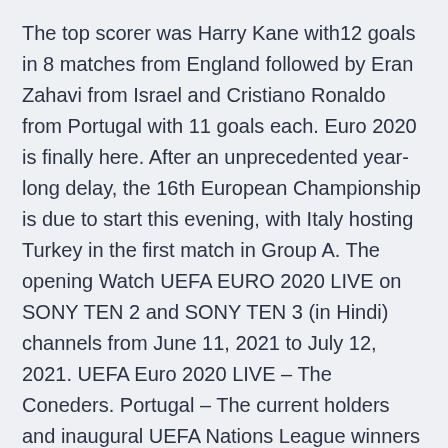The top scorer was Harry Kane with12 goals in 8 matches from England followed by Eran Zahavi from Israel and Cristiano Ronaldo from Portugal with 11 goals each. Euro 2020 is finally here. After an unprecedented year-long delay, the 16th European Championship is due to start this evening, with Italy hosting Turkey in the first match in Group A. The opening Watch UEFA EURO 2020 LIVE on SONY TEN 2 and SONY TEN 3 (in Hindi) channels from June 11, 2021 to July 12, 2021. UEFA Euro 2020 LIVE – The Coneders. Portugal – The current holders and inaugural UEFA Nations League winners have progressed from the EURO group stage on all seven occasions. In partnership with UEFA, we continue our series of EURO 2020 articles by examining the Czech Republic in detail to see if any of their players